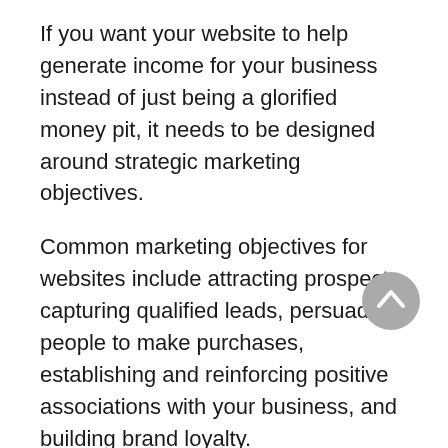If you want your website to help generate income for your business instead of just being a glorified money pit, it needs to be designed around strategic marketing objectives.
Common marketing objectives for websites include attracting prospects, capturing qualified leads, persuading people to make purchases, establishing and reinforcing positive associations with your business, and building brand loyalty.
We integrate all aspects of successful marketing strategies into your online presence – from website design to search